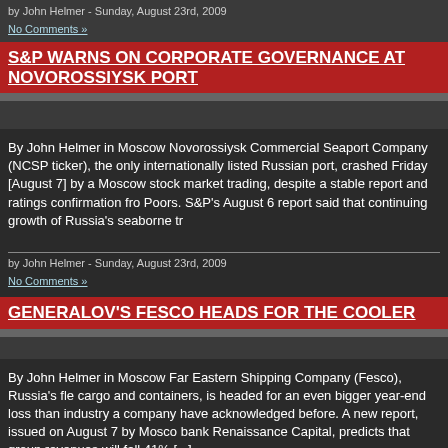by John Helmer - Sunday, August 23rd, 2009
No Comments »
S&P WARNS ON CORPORATE GOVERNANCE AT NOVOROSSIYSK PORT
By John Helmer in Moscow Novorossiysk Commercial Seaport Company (NCSP ticker), the only internationally listed Russian port, crashed Friday [August 7] by a Moscow stock market trading, despite a stable report and ratings confirmation from Poors. S&P's August 6 report said that continuing growth of Russia's seaborne tr
by John Helmer - Sunday, August 23rd, 2009
No Comments »
GENERALOV'S FESCO HEADS FOR THE COOLER
By John Helmer in Moscow Far Eastern Shipping Company (Fesco), Russia's fle cargo and containers, is headed for an even bigger year-end loss than industry a company have acknowledged before. A new report, issued on August 7 by Mosco bank Renaissance Capital, predicts that group revenues will fall 41% [...]